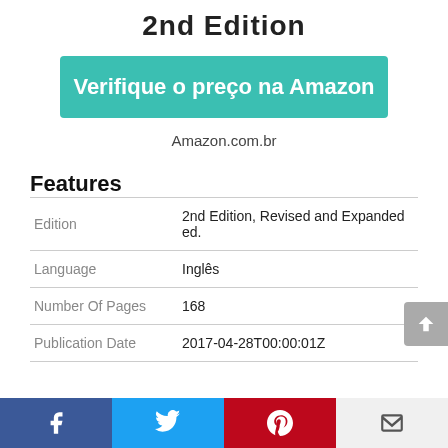2nd Edition
Verifique o preço na Amazon
Amazon.com.br
Features
| Edition | 2nd Edition, Revised and Expanded ed. |
| Language | Inglês |
| Number Of Pages | 168 |
| Publication Date | 2017-04-28T00:00:01Z |
Facebook | Twitter | Pinterest | Email